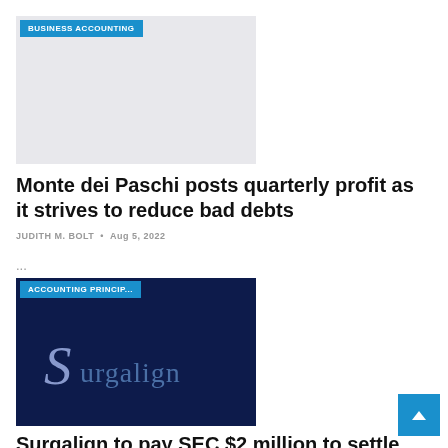[Figure (photo): Gray placeholder image for Business Accounting article]
Monte dei Paschi posts quarterly profit as it strives to reduce bad debts
JUDITH M. BOLT • Aug 5, 2022
...
[Figure (logo): Dark navy background with Surgalign logo text in blue-purple color]
Surgalign to pay SEC $2 million to settle accounting